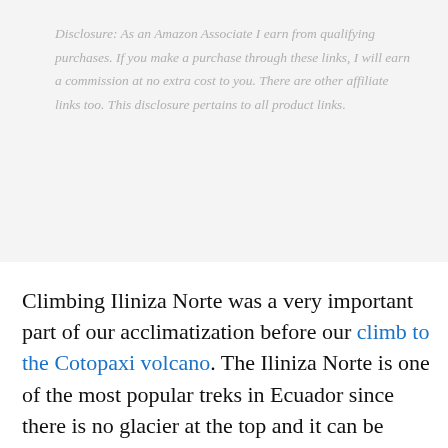Disclosure: As an Amazon Associate I earn from qualifying purchases. If you make a purchase through these links, I will earn a commission at no extra cost to you. There are other affiliate links too. This disclosure pertains to all product links.
Climbing Iliniza Norte was a very important part of our acclimatization before our climb to the Cotopaxi volcano. The Iliniza Norte is one of the most popular treks in Ecuador since there is no glacier at the top and it can be completed